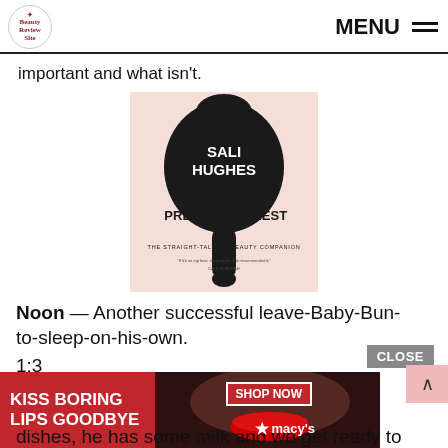MENU
important and what isn't.
[Figure (photo): Book cover of 'Pretty Honest' by Sali Hughes — The Straight-Talking Beauty Companion. Pink background with a black hand mirror silhouette. Author name 'SALI HUGHES' in white text on the mirror head, 'PRETTY HONEST' in black across the mirror. Subtitle: 'THE STRAIGHT-TALKING BEAUTY COMPANION'.]
Noon — Another successful leave-Baby-Bun-to-sleep-on-his-own.
1:3
dishes, he has some milk and we get ready to
[Figure (photo): Advertisement banner: 'KISS BORING LIPS GOODBYE' with a model's lips. SHOP NOW button. Macy's star logo.]